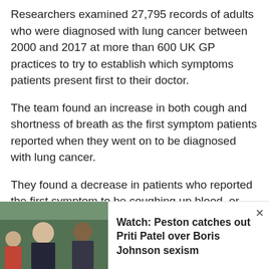Researchers examined 27,795 records of adults who were diagnosed with lung cancer between 2000 and 2017 at more than 600 UK GP practices to try to establish which symptoms patients present first to their doctor.
The team found an increase in both cough and shortness of breath as the first symptom patients reported when they went on to be diagnosed with lung cancer.
They found a decrease in patients who reported the first symptom to be coughing up blood, or loss of appetite, generally regarded as the headline symptom of lung cancer.
[Figure (photo): Photo of Boris Johnson and Priti Patel walking outside, used as thumbnail for a news video]
Watch: Peston catches out Priti Patel over Boris Johnson sexism